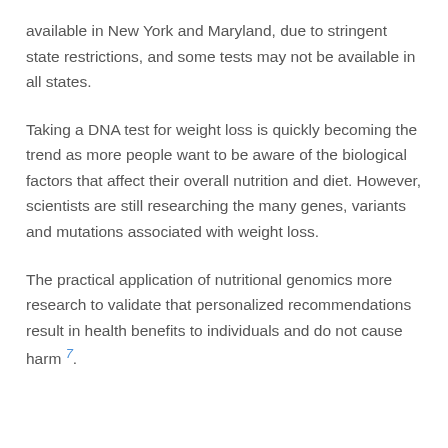available in New York and Maryland, due to stringent state restrictions, and some tests may not be available in all states.
Taking a DNA test for weight loss is quickly becoming the trend as more people want to be aware of the biological factors that affect their overall nutrition and diet. However, scientists are still researching the many genes, variants and mutations associated with weight loss.
The practical application of nutritional genomics more research to validate that personalized recommendations result in health benefits to individuals and do not cause harm 7.